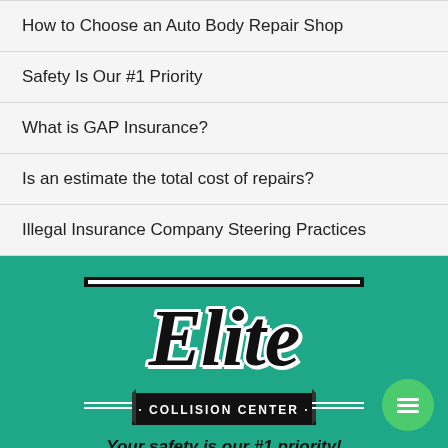How to Choose an Auto Body Repair Shop
Safety Is Our #1 Priority
What is GAP Insurance?
Is an estimate the total cost of repairs?
Illegal Insurance Company Steering Practices
[Figure (logo): Elite Collision Center logo on teal/green background with decorative banner. Tagline: Your safety is our #1 priority!]